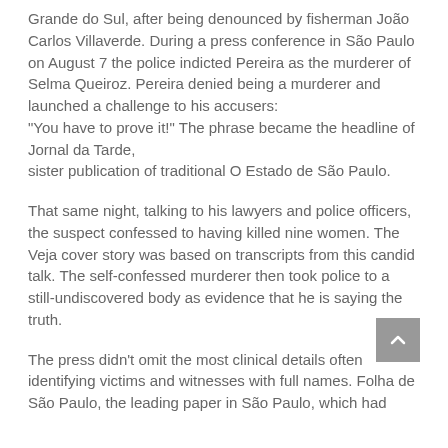Grande do Sul, after being denounced by fisherman João Carlos Villaverde. During a press conference in São Paulo on August 7 the police indicted Pereira as the murderer of Selma Queiroz. Pereira denied being a murderer and launched a challenge to his accusers: "You have to prove it!" The phrase became the headline of Jornal da Tarde, sister publication of traditional O Estado de São Paulo.
That same night, talking to his lawyers and police officers, the suspect confessed to having killed nine women. The Veja cover story was based on transcripts from this candid talk. The self-confessed murderer then took police to a still-undiscovered body as evidence that he is saying the truth.
The press didn't omit the most clinical details often identifying victims and witnesses with full names. Folha de São Paulo, the leading paper in São Paulo, which had